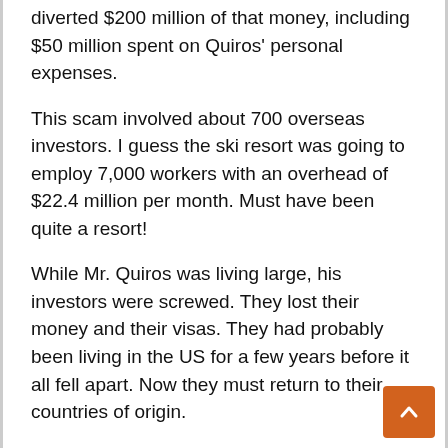diverted $200 million of that money, including $50 million spent on Quiros' personal expenses.
This scam involved about 700 overseas investors. I guess the ski resort was going to employ 7,000 workers with an overhead of $22.4 million per month. Must have been quite a resort!
While Mr. Quiros was living large, his investors were screwed. They lost their money and their visas. They had probably been living in the US for a few years before it all fell apart. Now they must return to their countries of origin.
So, the EB-5 visa program is fraught with fraud. It's also a major tax headache for new Americans.
If you move to the US under the EB-5 visa